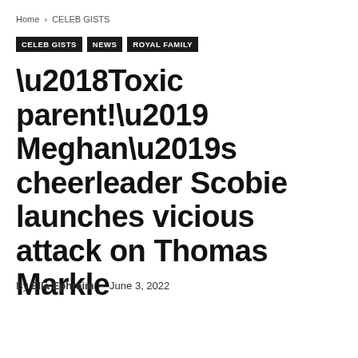Home › CELEB GISTS
CELEB GISTS
NEWS
ROYAL FAMILY
‘Toxic parent!’ Meghan’s cheerleader Scobie launches vicious attack on Thomas Markle
By Ella Ephraim - June 3, 2022